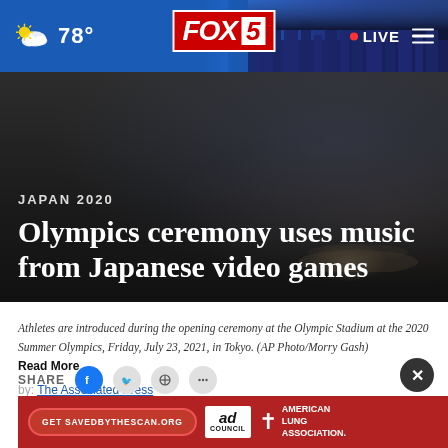FOX 5 | 78° | LIVE
[Figure (screenshot): FOX 5 news website header bar with weather showing 78°, FOX 5 logo in center, and LIVE indicator on the right]
JAPAN 2020
Olympics ceremony uses music from Japanese video games
Athletes are introduced during the opening ceremony at the Olympic Stadium at the 2020 Summer Olympics, Friday, July 23, 2021, in Tokyo. (AP Photo/Morry Gash)
Read More
by: The Associated Press
Posted: Jul 23, 2021 / 06:42 AM PDT
Updated: [partially obscured]
SHARE
[Figure (infographic): Ad banner for savedbythescan.org featuring American Lung Association branding with red background, CTA button, ad council logo]